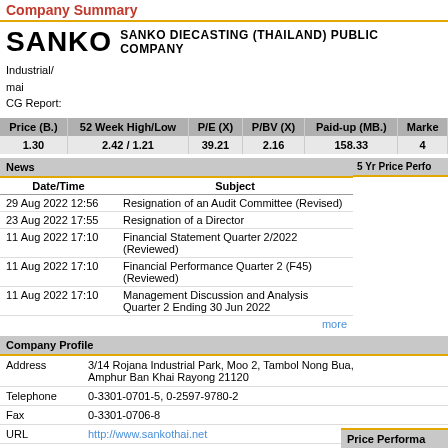Company Summary
SANKO   SANKO DIECASTING (THAILAND) PUBLIC COMPANY
Industrial/
mai
CG Report:
| Price (B.) | 52 Week High/Low | P/E (X) | P/BV (X) | Paid-up (MB.) | Marke |
| --- | --- | --- | --- | --- | --- |
| 1.30 | 2.42 / 1.21 | 39.21 | 2.16 | 158.33 | 4 |
News
5 Yr Price Perfo
| Date/Time | Subject |
| --- | --- |
| 29 Aug 2022 12:56 | Resignation of an Audit Committee (Revised) |
| 23 Aug 2022 17:55 | Resignation of a Director |
| 11 Aug 2022 17:10 | Financial Statement Quarter 2/2022 (Reviewed) |
| 11 Aug 2022 17:10 | Financial Performance Quarter 2 (F45) (Reviewed) |
| 11 Aug 2022 17:10 | Management Discussion and Analysis Quarter 2 Ending 30 Jun 2022 |
more
Company Profile
|  |  |
| --- | --- |
| Address | 3/14 Rojana Industrial Park, Moo 2, Tambol Nong Bua, Amphur Ban Khai Rayong 21120 |
| Telephone | 0-3301-0701-5, 0-2597-9780-2 |
| Fax | 0-3301-0706-8 |
| URL | http://www.sankothai.net |
|  | Annual Report 2020 |
Price Performa